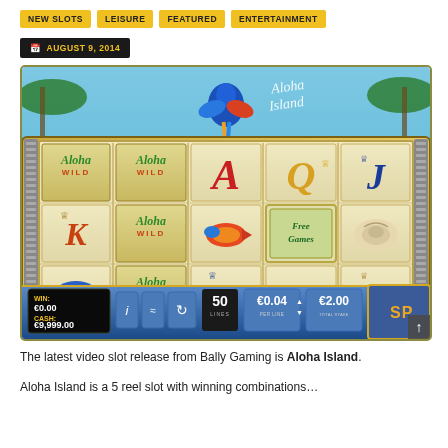NEW SLOTS | LEISURE | FEATURED | ENTERTAINMENT
AUGUST 9, 2014
[Figure (screenshot): Screenshot of the Aloha Island video slot game by Bally Gaming, showing 5 reels with wild symbols, card symbols (A, K, Q, J), a fish, parrot, free games symbol, and shell. The bottom control bar shows WIN: €0.00, CASH: €9,999.00, 50 LINES, €0.04 PER LINE, €2.00 TOTAL STAKE, and a SPIN button.]
The latest video slot release from Bally Gaming is Aloha Island.
Aloha Island is a 5 reel slot with winning combinations...